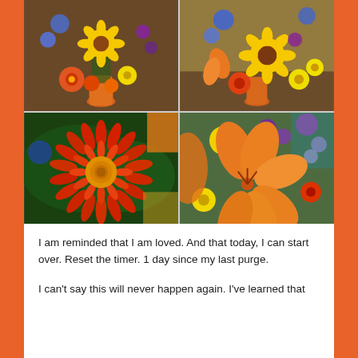[Figure (photo): 4-photo grid of colorful flower bouquets featuring sunflowers, gerbera daisies, orange lilies, blue and purple flowers in orange vases on a table, plus a close-up of a red/orange gerbera daisy]
I am reminded that I am loved. And that today, I can start over. Reset the timer. 1 day since my last purge.
I can't say this will never happen again. I've learned that